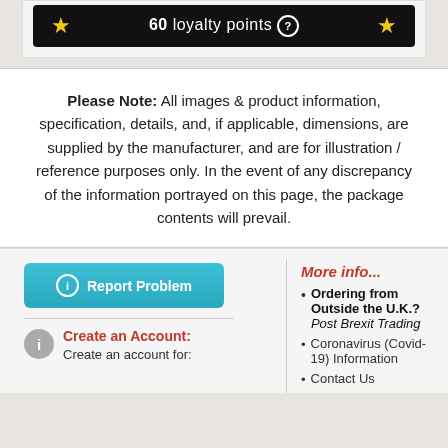[Figure (screenshot): Loyalty points bar showing 60 loyalty points with gold stars on each side on a black background]
Please Note: All images & product information, specification, details, and, if applicable, dimensions, are supplied by the manufacturer, and are for illustration / reference purposes only. In the event of any discrepancy of the information portrayed on this page, the package contents will prevail.
[Figure (screenshot): Teal Report Problem button with info icon]
Create an Account: Create an account for:
More info...
Ordering from Outside the U.K.? Post Brexit Trading
Coronavirus (Covid-19) Information
Contact Us